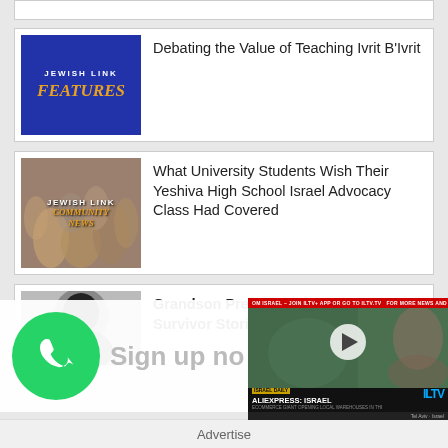[Figure (screenshot): Partial top element clipped at top of page]
[Figure (screenshot): Article card: Jewish Link Features thumbnail (blue background, gold italic text 'FEATURES', white text 'JEWISH LINK')]
Debating the Value of Teaching Ivrit B'Ivrit
[Figure (screenshot): Article card: Jewish Link Community News thumbnail (crowd photo with overlay text)]
What University Students Wish Their Yeshiva High School Israel Advocacy Class Had Covered
[Figure (photo): Article card: black and white portrait photo (partially visible)]
Grandson Preserves Family Survivor Stories
[Figure (screenshot): WhatsApp sign up overlay with green WhatsApp icon and text 'Sign up no']
[Figure (screenshot): ILTV video overlay with ALIEXPRESS: ISRAEL banner, play button, green background]
Advertise